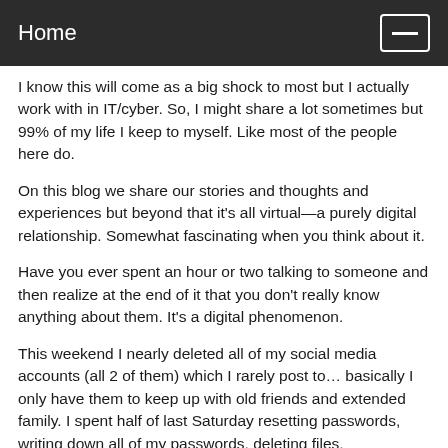Home
I know this will come as a big shock to most but I actually work with in IT/cyber. So, I might share a lot sometimes but 99% of my life I keep to myself. Like most of the people here do.
On this blog we share our stories and thoughts and experiences but beyond that it's all virtual—a purely digital relationship. Somewhat fascinating when you think about it.
Have you ever spent an hour or two talking to someone and then realize at the end of it that you don't really know anything about them. It's a digital phenomenon.
This weekend I nearly deleted all of my social media accounts (all 2 of them) which I rarely post to… basically I only have them to keep up with old friends and extended family. I spent half of last Saturday resetting passwords, writing down all of my passwords, deleting files, implementing extra security.
I'm not trying to erase my life, I just don't want anyone